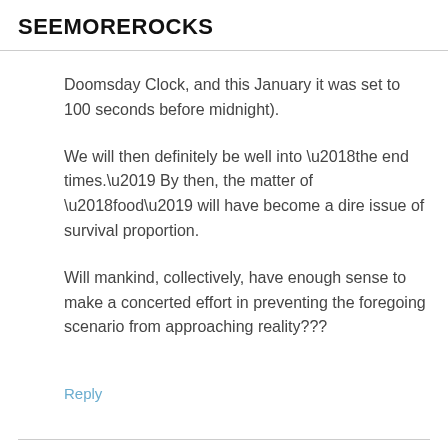SEEMOREROCKS
Doomsday Clock, and this January it was set to 100 seconds before midnight).
We will then definitely be well into ‘the end times.’ By then, the matter of ‘food’ will have become a dire issue of survival proportion.
Will mankind, collectively, have enough sense to make a concerted effort in preventing the foregoing scenario from approaching reality???
Reply